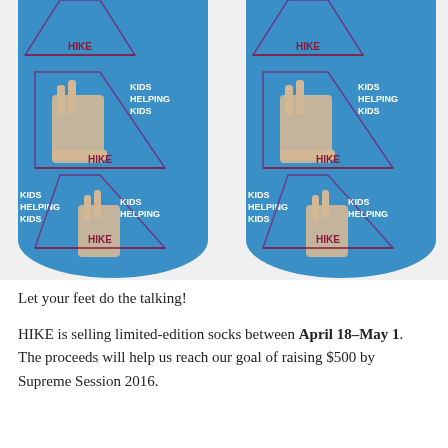[Figure (photo): Two blue ankle socks side by side, each featuring a repeating pattern of a hand making the 'I love you' sign language gesture inside a triangle outline, with text reading 'KIDS HELPING KIDS' and 'HIKE' below the triangle, on a bright blue background.]
Let your feet do the talking!
HIKE is selling limited-edition socks between April 18–May 1. The proceeds will help us reach our goal of raising $500 by Supreme Session 2016.